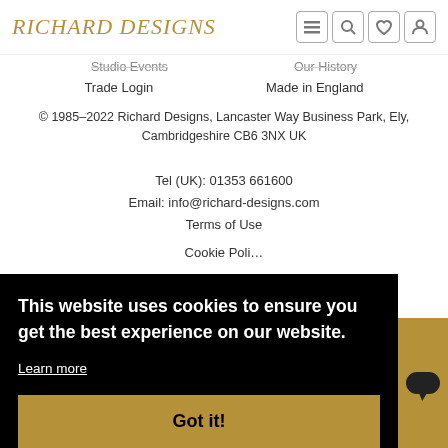Richard Designs
Studio Events   Our History
Trade Login   Made in England
© 1985–2022 Richard Designs, Lancaster Way Business Park, Ely, Cambridgeshire CB6 3NX UK
Tel (UK): 01353 661600
Email: info@richard-designs.com
Terms of Use
Cookie Poli…
This website uses cookies to ensure you get the best experience on our website.
Learn more
Got it!